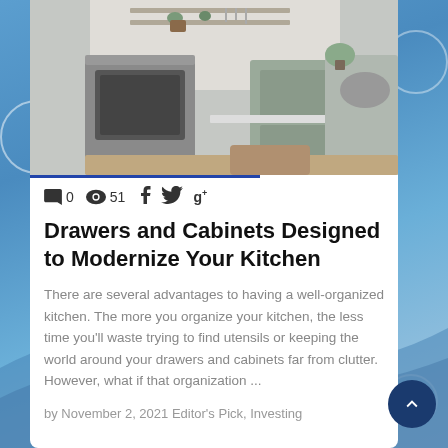[Figure (photo): Kitchen interior photo showing modern cabinets, drawers, oven, shelving and countertops]
0   51   f   twitter   g+
Drawers and Cabinets Designed to Modernize Your Kitchen
There are several advantages to having a well-organized kitchen. The more you organize your kitchen, the less time you'll waste trying to find utensils or keeping the world around your drawers and cabinets far from clutter. However, what if that organization ...
by November 2, 2021 Editor's Pick, Investing